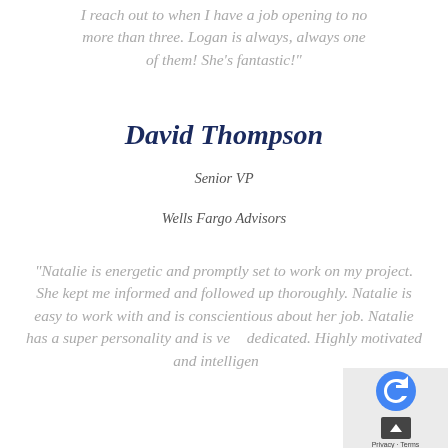“I reach out to when I have a job opening to no more than three. Logan is always, always one of them! She’s fantastic!”
David Thompson
Senior VP
Wells Fargo Advisors
“Natalie is energetic and promptly set to work on my project. She kept me informed and followed up thoroughly. Natalie is easy to work with and is conscientious about her job. Natalie has a super personality and is very dedicated. Highly motivated and intelligent...